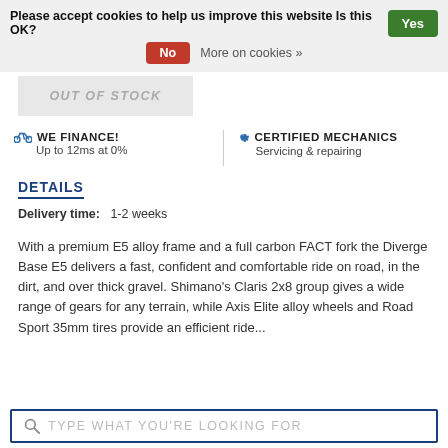Please accept cookies to help us improve this website Is this OK? Yes
No   More on cookies »
[Figure (other): OUT OF STOCK button/banner area]
WE FINANCE! Up to 12ms at 0%
CERTIFIED MECHANICS Servicing & repairing
DETAILS
Delivery time:  1-2 weeks
With a premium E5 alloy frame and a full carbon FACT fork the Diverge Base E5 delivers a fast, confident and comfortable ride on road, in the dirt, and over thick gravel. Shimano's Claris 2x8 group gives a wide range of gears for any terrain, while Axis Elite alloy wheels and Road Sport 35mm tires provide an efficient ride...
TYPE WHAT YOU'RE LOOKING FOR